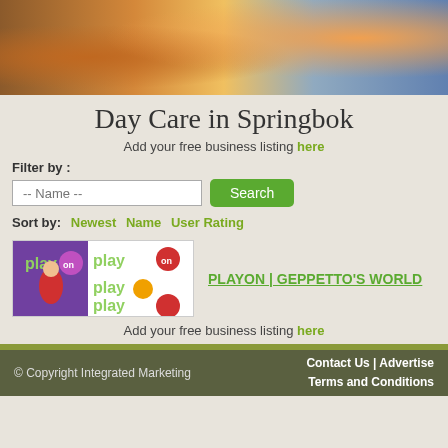[Figure (photo): Child in orange and black striped shirt playing with toys on a table, reaching across a surface with craft items]
Day Care in Springbok
Add your free business listing here
Filter by :
Sort by: Newest  Name  User Rating
[Figure (logo): PLAYON Geppetto's World logo with colorful play text and children playing]
PLAYON | GEPPETTO'S WORLD
Add your free business listing here
© Copyright Integrated Marketing    Contact Us | Advertise  Terms and Conditions